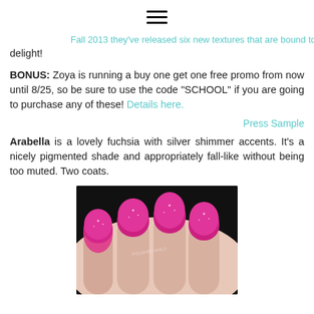☰ (hamburger menu icon)
...they've released six new textures that are bound to delight! (with 'Fall 2013' as a link)
BONUS: Zoya is running a buy one get one free promo from now until 8/25, so be sure to use the code "SCHOOL" if you are going to purchase any of these! Details here.
Press Sample
Arabella is a lovely fuchsia with silver shimmer accents. It's a nicely pigmented shade and appropriately fall-like without being too muted. Two coats.
[Figure (photo): Close-up photo of a hand with nails painted in a shimmery hot pink/fuchsia glitter nail polish (Arabella by Zoya), against a dark background.]